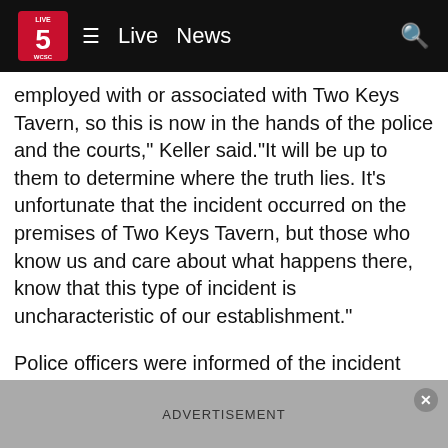Live 5 WCSC — Live News
employed with or associated with Two Keys Tavern, so this is now in the hands of the police and the courts," Keller said."It will be up to them to determine where the truth lies. It's unfortunate that the incident occurred on the premises of Two Keys Tavern, but those who know us and care about what happens there, know that this type of incident is uncharacteristic of our establishment."
Police officers were informed of the incident after one of the victims called 911 on Saturday and told emergency personnel that a friend of theirs had been struck at the tavern.The four victims told investigators that they were held against their will after a manager became angry over an unpaid bet and locked the tavern.
ADVERTISEMENT